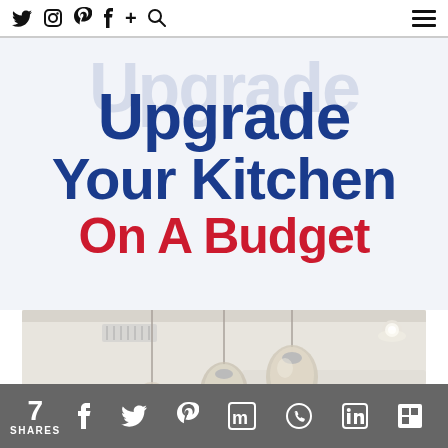Twitter Instagram Pinterest Facebook + Search [hamburger menu]
Upgrade Your Kitchen On A Budget
[Figure (photo): Bright white kitchen interior with glass globe pendant lights hanging from ceiling over an island, white cabinets visible in background]
7 SHARES [Facebook] [Twitter] [Pinterest] [Mix] [WhatsApp] [LinkedIn] [Flipboard]